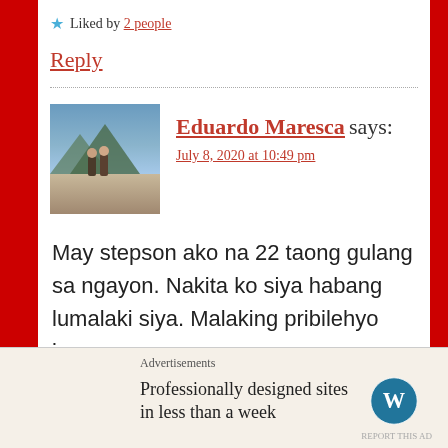★ Liked by 2 people
Reply
Eduardo Maresca says:
July 8, 2020 at 10:49 pm
May stepson ako na 22 taong gulang sa ngayon. Nakita ko siya habang lumalaki siya. Malaking pribilehyo iyon
★ Liked by 2 people
Advertisements
Professionally designed sites in less than a week